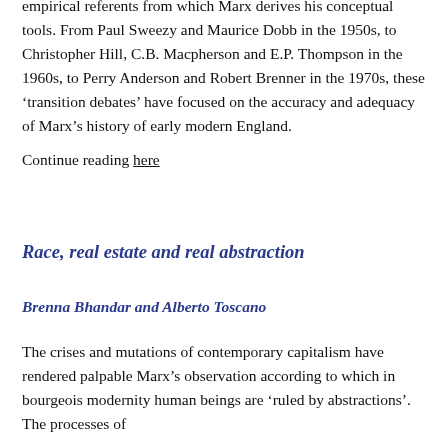empirical referents from which Marx derives his conceptual tools. From Paul Sweezy and Maurice Dobb in the 1950s, to Christopher Hill, C.B. Macpherson and E.P. Thompson in the 1960s, to Perry Anderson and Robert Brenner in the 1970s, these ‘transition debates’ have focused on the accuracy and adequacy of Marx’s history of early modern England.
Continue reading here
Race, real estate and real abstraction
Brenna Bhandar and Alberto Toscano
The crises and mutations of contemporary capitalism have rendered palpable Marx’s observation according to which in bourgeois modernity human beings are ‘ruled by abstractions’. The processes of